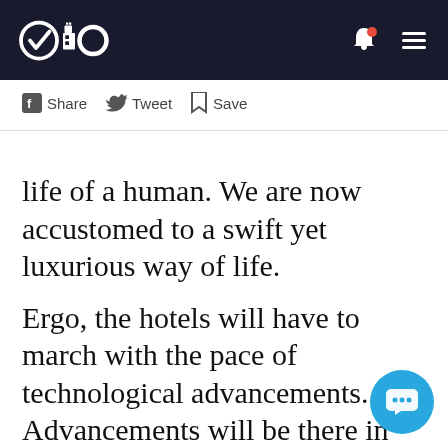Qio [logo with navigation icons]
Share  Tweet  Save
life of a human. We are now accustomed to a swift yet luxurious way of life.
Ergo, the hotels will have to march with the pace of technological advancements. Advancements will be there in the way they conduct their business.
With technology, they will be more efficient and economic.